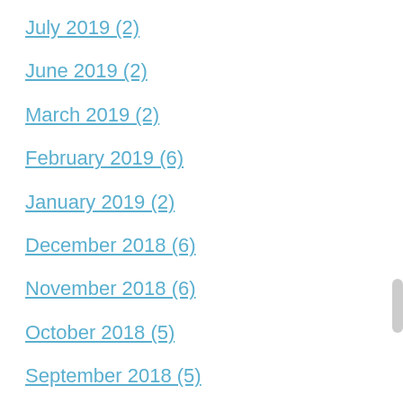July 2019 (2)
June 2019 (2)
March 2019 (2)
February 2019 (6)
January 2019 (2)
December 2018 (6)
November 2018 (6)
October 2018 (5)
September 2018 (5)
August 2018 (6)
July 2018 (5)
June 2018 (5)